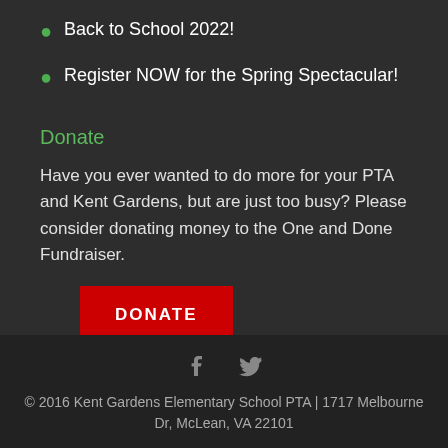Back to School 2022!
Register NOW for the Spring Spectacular!
Donate
Have you ever wanted to do more for your PTA and Kent Gardens, but are just too busy? Please consider donating money to the One and Done Fundraiser.
DONATE
© 2016 Kent Gardens Elementary School PTA | 1717 Melbourne Dr, McLean, VA 22101